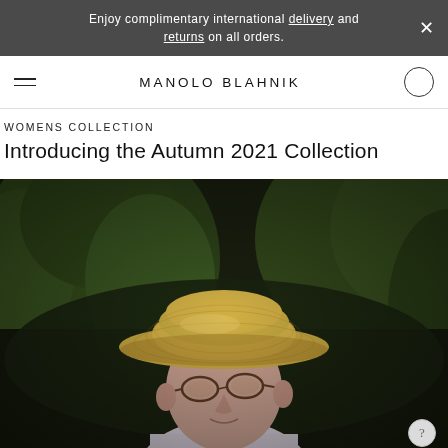Enjoy complimentary international delivery and returns on all orders.
MANOLO BLAHNIK
WOMENS COLLECTION
Introducing the Autumn 2021 Collection
[Figure (photo): Man wearing a wide-brimmed straw hat and round glasses, photographed outdoors in front of green hedges in sunlight.]